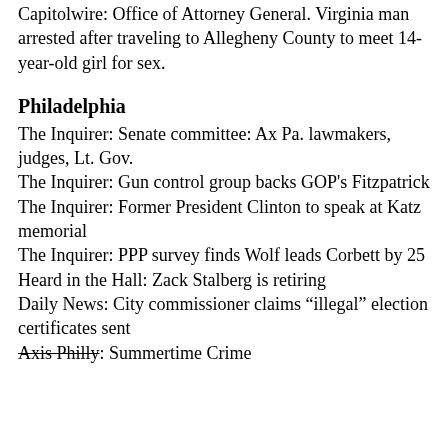Capitolwire: Office of Attorney General. Virginia man arrested after traveling to Allegheny County to meet 14-year-old girl for sex.
Philadelphia
The Inquirer: Senate committee: Ax Pa. lawmakers, judges, Lt. Gov.
The Inquirer: Gun control group backs GOP's Fitzpatrick
The Inquirer: Former President Clinton to speak at Katz memorial
The Inquirer: PPP survey finds Wolf leads Corbett by 25
Heard in the Hall: Zack Stalberg is retiring
Daily News: City commissioner claims “illegal” election certificates sent
Axis Philly: Summertime Crime